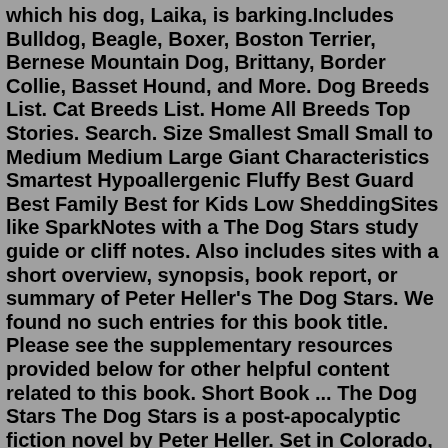which his dog, Laika, is barking.Includes Bulldog, Beagle, Boxer, Boston Terrier, Bernese Mountain Dog, Brittany, Border Collie, Basset Hound, and More. Dog Breeds List. Cat Breeds List. Home All Breeds Top Stories. Search. Size Smallest Small Small to Medium Medium Large Giant Characteristics Smartest Hypoallergenic Fluffy Best Guard Best Family Best for Kids Low SheddingSites like SparkNotes with a The Dog Stars study guide or cliff notes. Also includes sites with a short overview, synopsis, book report, or summary of Peter Heller's The Dog Stars. We found no such entries for this book title. Please see the supplementary resources provided below for other helpful content related to this book. Short Book ... The Dog Stars The Dog Stars is a post-apocalyptic fiction novel by Peter Heller. Set in Colorado, a man lives a lonesome existence in an airplane hangar with his dog and a dour gunman he has befriended. When a mysterious transmission comes through on the radio while he's flying his old Cessna, it sparks a hunt for the provenance of the